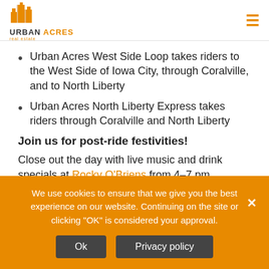Urban Acres real estate
Urban Acres West Side Loop takes riders to the West Side of Iowa City, through Coralville, and to North Liberty
Urban Acres North Liberty Express takes riders through Coralville and North Liberty
Join us for post-ride festivities!
Close out the day with live music and drink specials at Rocky O'Briens from 4–7 pm. Everyone, regardless of whether or not you participated in the ride, is welcome to join in on the festivities so bring your
We use cookies to ensure that we give you the best experience on our website. Continuing on the site or clicking "OK" is considered your approval.
Ok  Privacy policy